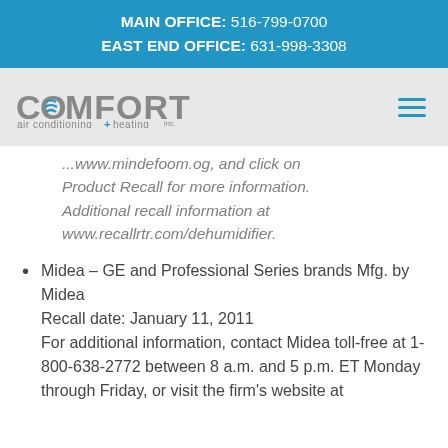MAIN OFFICE: 516-799-0700
EAST END OFFICE: 631-998-3308
[Figure (logo): Comfort Air Conditioning + Heating Inc. logo with hamburger menu icon]
...www.mindefoom.og, and click on Product Recall for more information. Additional recall information at www.recallrtr.com/dehumidifier.
Midea – GE and Professional Series brands Mfg. by Midea
Recall date: January 11, 2011
For additional information, contact Midea toll-free at 1-800-638-2772 between 8 a.m. and 5 p.m. ET Monday through Friday, or visit the firm's website at